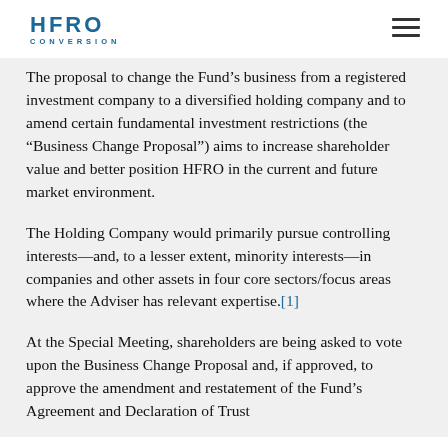HFRO CONVERSION
The proposal to change the Fund’s business from a registered investment company to a diversified holding company and to amend certain fundamental investment restrictions (the “Business Change Proposal”) aims to increase shareholder value and better position HFRO in the current and future market environment.
The Holding Company would primarily pursue controlling interests—and, to a lesser extent, minority interests—in companies and other assets in four core sectors/focus areas where the Adviser has relevant expertise.[1]
At the Special Meeting, shareholders are being asked to vote upon the Business Change Proposal and, if approved, to approve the amendment and restatement of the Fund’s Agreement and Declaration of Trust